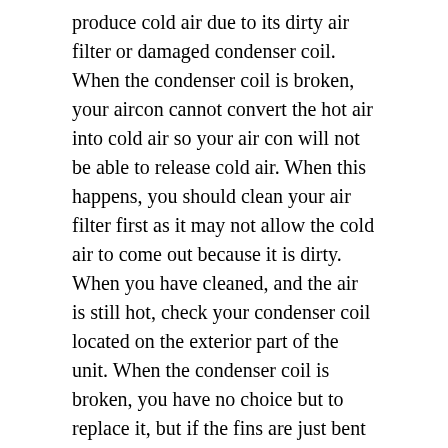produce cold air due to its dirty air filter or damaged condenser coil. When the condenser coil is broken, your aircon cannot convert the hot air into cold air so your air con will not be able to release cold air. When this happens, you should clean your air filter first as it may not allow the cold air to come out because it is dirty. When you have cleaned, and the air is still hot, check your condenser coil located on the exterior part of the unit. When the condenser coil is broken, you have no choice but to replace it, but if the fins are just bent and just simply use a fin comb to straighten it.
The air coming from your air conditioner has a stinky smell
it is normal to have an inside scent when you have food inside your room because the air is just circulating inside but what if there is no food in the room but there is still a